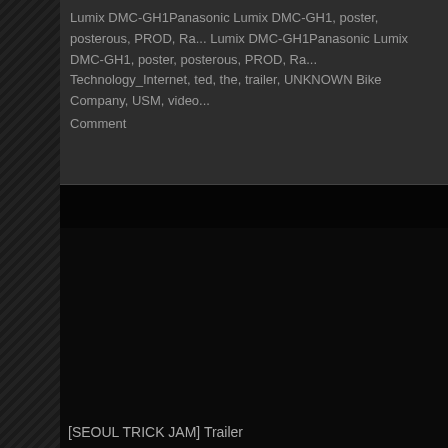Lumix DMC-GH1Panasonic Lumix DMC-GH1, poster, posterous, PROD, Ra... Technology_Internet, ted, the, trailer, UNKNOWN Bike Company, USM, video...
Comment
[Figure (screenshot): Dark video player area showing a nearly black screen with the title '[SEOUL TRICK JAM] Trailer' visible at the bottom left]
[SEOUL TRICK JAM] Trailer